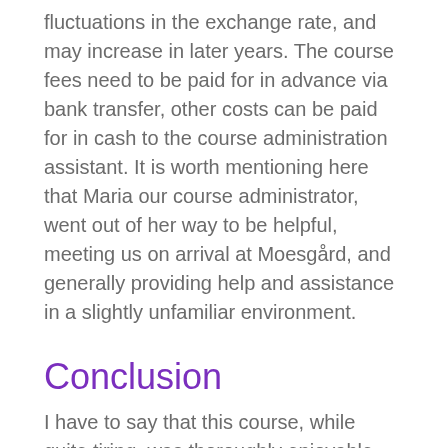fluctuations in the exchange rate, and may increase in later years. The course fees need to be paid for in advance via bank transfer, other costs can be paid for in cash to the course administration assistant. It is worth mentioning here that Maria our course administrator, went out of her way to be helpful, meeting us on arrival at Moesgård, and generally providing help and assistance in a slightly unfamiliar environment.
Conclusion
I have to say that this course, while quite tiring, was thoroughly enjoyable, and I felt that I learned a great deal about the wider Viking world. Consequently I would have no hesitation in recommending the